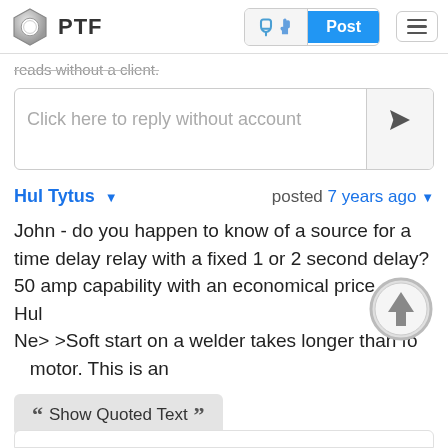PTF — Post
reads without a client.
Click here to reply without account
Hul Tytus — posted 7 years ago
John - do you happen to know of a source for a time delay relay with a fixed 1 or 2 second delay? 50 amp capability with an economical price.
Hul
Ne> >Soft start on a welder takes longer than for a motor. This is an
Show Quoted Text